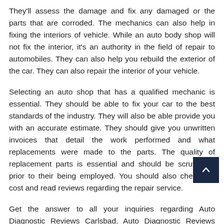They'll assess the damage and fix any damaged or the parts that are corroded. The mechanics can also help in fixing the interiors of vehicle. While an auto body shop will not fix the interior, it's an authority in the field of repair to automobiles. They can also help you rebuild the exterior of the car. They can also repair the interior of your vehicle.
Selecting an auto shop that has a qualified mechanic is essential. They should be able to fix your car to the best standards of the industry. They will also be able provide you with an accurate estimate. They should give you unwritten invoices that detail the work performed and what replacements were made to the parts. The quality of replacement parts is essential and should be scrutinized prior to their being employed. You should also check the cost and read reviews regarding the repair service.
Get the answer to all your inquiries regarding Auto Diagnostic Reviews Carlsbad, Auto Diagnostic Reviews Carlsbad , and Auto Diagnostic Reviews Carlsbad.